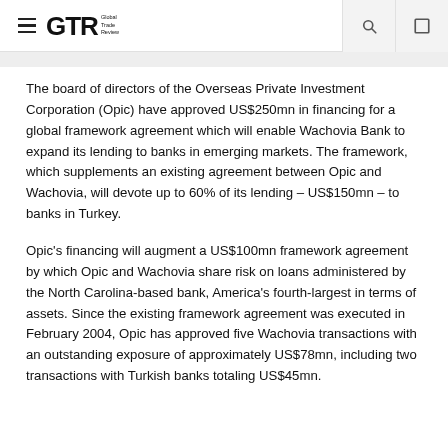GTR Global Trade Review
The board of directors of the Overseas Private Investment Corporation (Opic) have approved US$250mn in financing for a global framework agreement which will enable Wachovia Bank to expand its lending to banks in emerging markets. The framework, which supplements an existing agreement between Opic and Wachovia, will devote up to 60% of its lending – US$150mn – to banks in Turkey.
Opic's financing will augment a US$100mn framework agreement by which Opic and Wachovia share risk on loans administered by the North Carolina-based bank, America's fourth-largest in terms of assets. Since the existing framework agreement was executed in February 2004, Opic has approved five Wachovia transactions with an outstanding exposure of approximately US$78mn, including two transactions with Turkish banks totaling US$45mn.